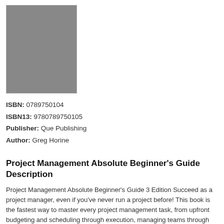[Figure (illustration): Book cover thumbnail shown as a gray rectangle placeholder]
ISBN: 0789750104
ISBN13: 9780789750105
Publisher: Que Publishing
Author: Greg Horine
Project Management Absolute Beginner's Guide Description
Project Management Absolute Beginner's Guide 3 Edition Succeed as a project manager, even if you've never run a project before! This book is the fastest way to master every project management task, from upfront budgeting and scheduling through execution, managing teams through closing projects, and learning from experience. Updated for the latest web-based project management tools and the newest